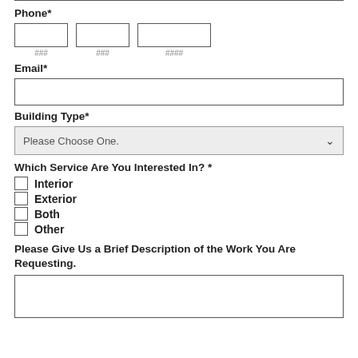Phone*
### ### ####
Email*
Building Type*
Please Choose One.
Which Service Are You Interested In? *
Interior
Exterior
Both
Other
Please Give Us a Brief Description of the Work You Are Requesting.